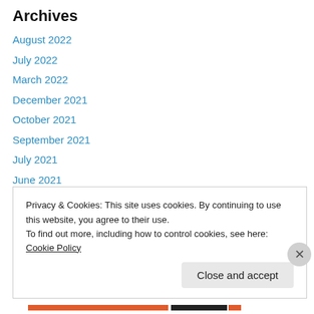Archives
August 2022
July 2022
March 2022
December 2021
October 2021
September 2021
July 2021
June 2021
May 2021
December 2020
August 2020
July 2020
Privacy & Cookies: This site uses cookies. By continuing to use this website, you agree to their use.
To find out more, including how to control cookies, see here: Cookie Policy
Close and accept